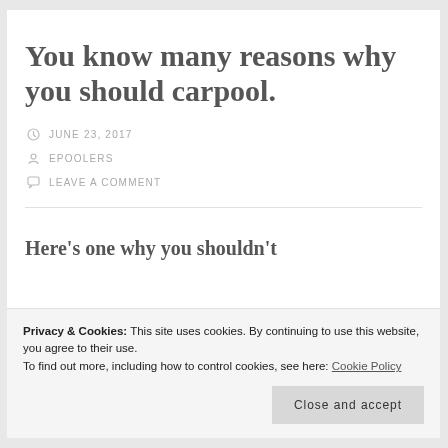You know many reasons why you should carpool.
JUNE 23, 2017
EPOOLERS
LEAVE A COMMENT
Here's one why you shouldn't
easy on infrastructure, a great way to connect, and a
Privacy & Cookies: This site uses cookies. By continuing to use this website, you agree to their use. To find out more, including how to control cookies, see here: Cookie Policy
Close and accept